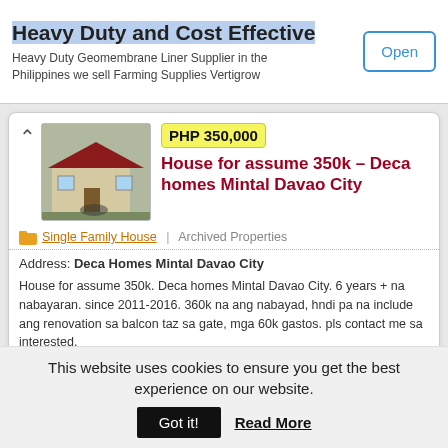[Figure (screenshot): Advertisement banner for Heavy Duty Geomembrane Liner with Open button]
Heavy Duty and Cost Effective
Heavy Duty Geomembrane Liner Supplier in the Philippines we sell Farming Supplies Vertigrow
Open
[Figure (photo): Thumbnail photo of a house at Deca Homes Mintal Davao City]
House for assume 350k – Deca homes Mintal Davao City
PHP 350,000
Single Family House  |  Archived Properties
Address: Deca Homes Mintal Davao City
House for assume 350k. Deca homes Mintal Davao City. 6 years + na nabayaran. since 2011-2016. 360k na ang nabayad, hndi pa na include ang renovation sa balcon taz sa gate, mga 60k gastos. pls contact me sa interested.
2 bedroom(s) | 1 bathroom(s) | floor area = 35.10 sqm | lot area = 80 sqm
This website uses cookies to ensure you get the best experience on our website.
Got it!
Read More